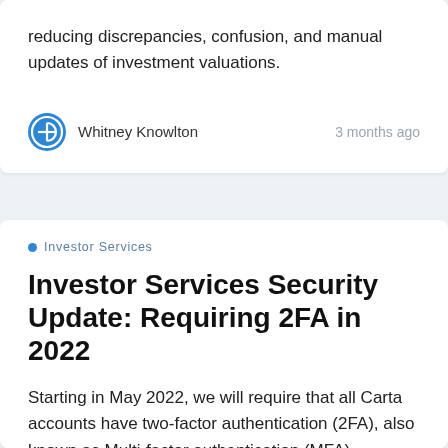reducing discrepancies, confusion, and manual updates of investment valuations.
Whitney Knowlton    3 months ago
Investor Services
Investor Services Security Update: Requiring 2FA in 2022
Starting in May 2022, we will require that all Carta accounts have two-factor authentication (2FA), also known as Multi-factor authentication (MFA) enabled. Investor Services customers should confirm all of their team members have personal